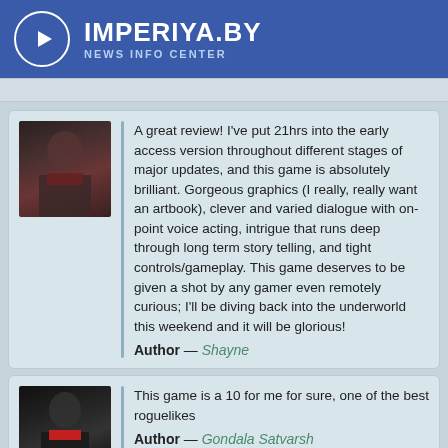IMPERIYA.BY NEWS INFO CENTER
A great review! I've put 21hrs into the early access version throughout different stages of major updates, and this game is absolutely brilliant. Gorgeous graphics (I really, really want an artbook), clever and varied dialogue with on-point voice acting, intrigue that runs deep through long term story telling, and tight controls/gameplay. This game deserves to be given a shot by any gamer even remotely curious; I'll be diving back into the underworld this weekend and it will be glorious!
Author — Shayne
This game is a 10 for me for sure, one of the best roguelikes
Author — Gondala Satvarsh